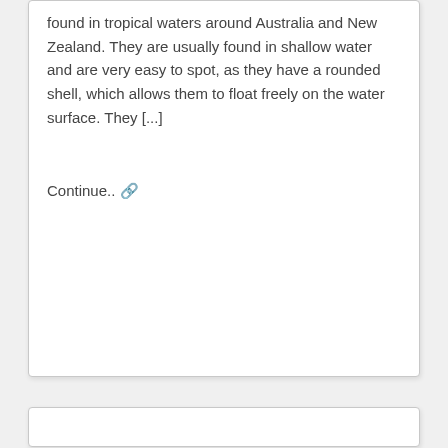found in tropical waters around Australia and New Zealand. They are usually found in shallow water and are very easy to spot, as they have a rounded shell, which allows them to float freely on the water surface. They [...]
Continue.. 🔗